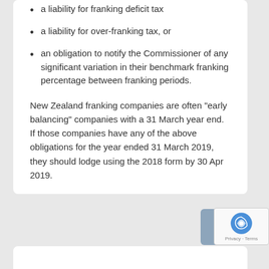a liability for franking deficit tax
a liability for over-franking tax, or
an obligation to notify the Commissioner of any significant variation in their benchmark franking percentage between franking periods.
New Zealand franking companies are often “early balancing” companies with a 31 March year end. If those companies have any of the above obligations for the year ended 31 March 2019, they should lodge using the 2018 form by 30 Apr 2019.